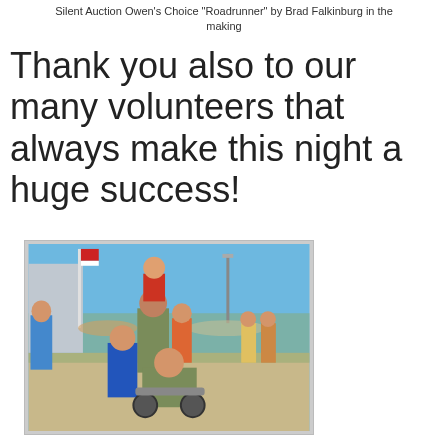Silent Auction Owen's Choice "Roadrunner" by Brad Falkinburg in the making
Thank you also to our many volunteers that always make this night a huge success!
[Figure (photo): Group photo of a family at an outdoor event. A man in camouflage carries a child on his shoulders, with other children around him. A boy in a blue shirt and a person in a wheelchair with camouflage pants are in the foreground. A crowd and blue sky visible in background.]